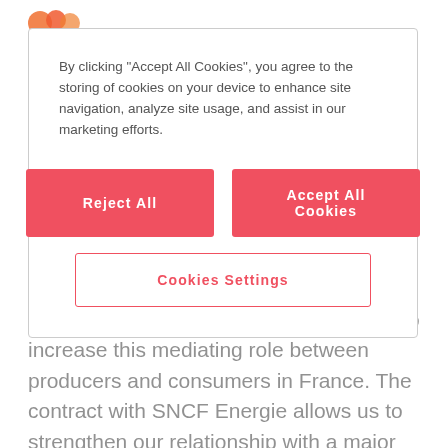[Figure (logo): Partial orange/red logo visible at top left behind modal]
By clicking “Accept All Cookies”, you agree to the storing of cookies on your device to enhance site navigation, analyze site usage, and assist in our marketing efforts.
Reject All
Accept All Cookies
Cookies Settings
in PTAs in many markets. Now we want to increase this mediating role between producers and consumers in France. The contract with SNCF Energie allows us to strengthen our relationship with a major player in the French market by assisting them in the integration of renewable assets into their supply and putting our know-how of balancing and the abundance of our diversified portfolio at their